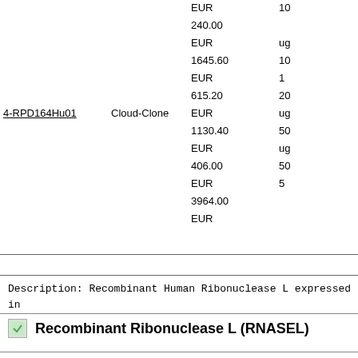| Product ID | Brand | Price | Quantity |
| --- | --- | --- | --- |
|  |  | EUR | 10 |
|  |  | 240.00 |  |
|  |  | EUR | ug |
|  |  | 1645.60 | 10 |
|  |  | EUR | 1 |
|  |  | 615.20 | 20 |
| 4-RPD164Hu01 | Cloud-Clone | EUR | ug |
|  |  | 1130.40 | 50 |
|  |  | EUR | ug |
|  |  | 406.00 | 50 |
|  |  | EUR | 5 |
|  |  | 3964.00 |  |
|  |  | EUR |  |
Description: Recombinant Human Ribonuclease L expressed in E.coli
Recombinant Ribonuclease L (RNASEL)